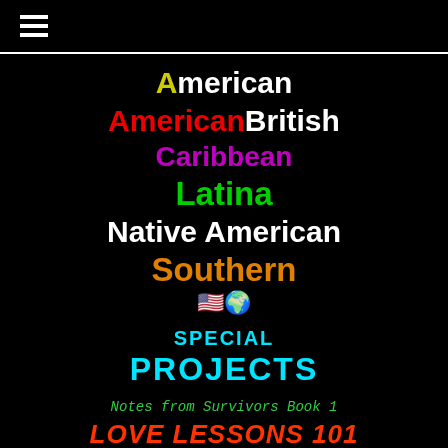☰
American
AmericanBritish
Caribbean
Latina
Native American
Southern
🇺🇸🌍
SPECIAL PROJECTS
Notes from Survivors Book 1
LOVE LESSONS 101